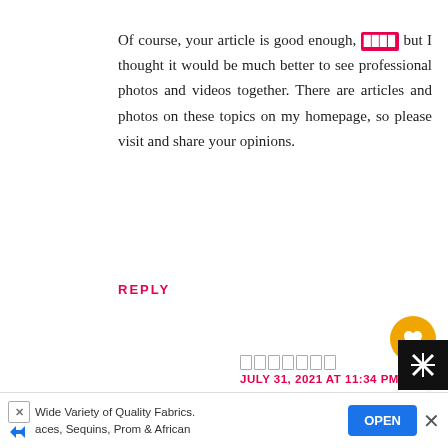Of course, your article is good enough, [emoji] but I thought it would be much better to see professional photos and videos together. There are articles and photos on these topics on my homepage, so please visit and share your opinions.
REPLY
[username]
JULY 31, 2021 AT 11:34 PM
That's a really impressive new idea! [emoji] It
Wide Variety of Quality Fabrics. aces, Sequins, Prom & African
OPEN